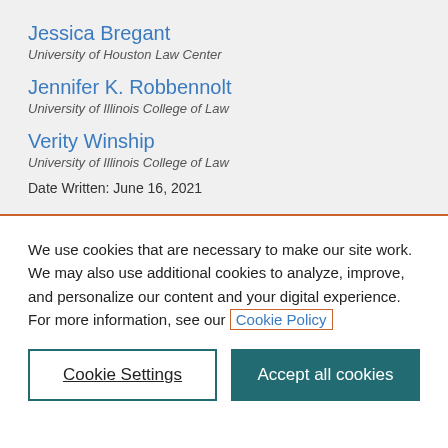Jessica Bregant
University of Houston Law Center
Jennifer K. Robbennolt
University of Illinois College of Law
Verity Winship
University of Illinois College of Law
Date Written: June 16, 2021
We use cookies that are necessary to make our site work. We may also use additional cookies to analyze, improve, and personalize our content and your digital experience. For more information, see our Cookie Policy
Cookie Settings
Accept all cookies